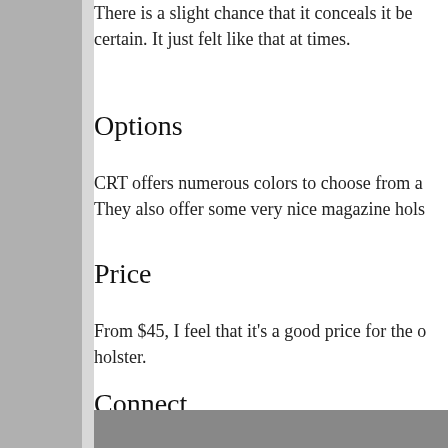There is a slight chance that it conceals it be certain. It just felt like that at times.
Options
CRT offers numerous colors to choose from a They also offer some very nice magazine hols
Price
From $45, I feel that it's a good price for the o holster.
Connect
Critical Response Tactical | Website | Faceb